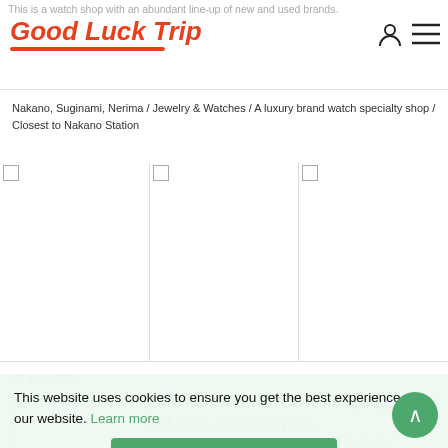This is a watch shop with an abundant line-up of new and used brands.
Nakano, Suginami, Nerima / Jewelry & Watches / A luxury brand watch specialty shop / Closest to Nakano Station
[Figure (photo): Three image placeholders (broken images) displayed horizontally]
27 Mar 2020
4 Watches to WATCH for in Spring of 2020, Chosen by an...
If you're visiting Tokyo in the spring and hoping to purchase luxury brand watches and accessories duty-free, o...
This website uses cookies to ensure you get the best experience on our website. Learn more
Accept
22 Jan 2020